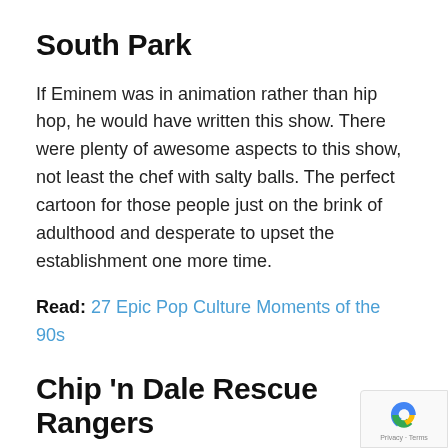South Park
If Eminem was in animation rather than hip hop, he would have written this show. There were plenty of awesome aspects to this show, not least the chef with salty balls. The perfect cartoon for those people just on the brink of adulthood and desperate to upset the establishment one more time.
Read: 27 Epic Pop Culture Moments of the 90s
Chip 'n Dale Rescue Rangers
These two guys had found a lucrative side niche career solution by becoming detectives on cases involving animals.